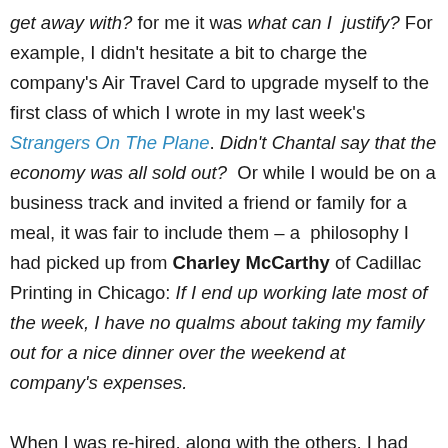get away with? for me it was what can I  justify? For example, I didn't hesitate a bit to charge the company's Air Travel Card to upgrade myself to the first class of which I wrote in my last week's Strangers On The Plane. Didn't Chantal say that the economy was all sold out?  Or while I would be on a business track and invited a friend or family for a meal, it was fair to include them – a  philosophy I had picked up from Charley McCarthy of Cadillac Printing in Chicago: If I end up working late most of the week, I have no qualms about taking my family out for a nice dinner over the weekend at company's expenses.

When I was re-hired, along with the others, I had negotiated the first class travel for myself, and when Carolyn accompanied me to Barcelona, I promptly traded in my first class ticket for two economies. It worked out